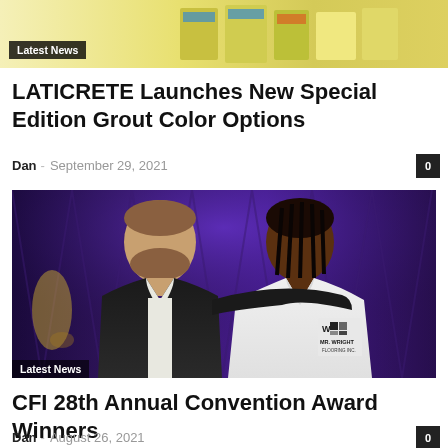[Figure (photo): Top banner image showing trade show display with LATICRETE products, yellow-green background with product displays]
Latest News
LATICRETE Launches New Special Edition Grout Color Options
Dan · September 29, 2021   0
[Figure (photo): Two men posing together at an event. Left man wears a dark suit jacket, right man wears a white polo shirt with MR. WRIGHT FLOORING INC. logo. Purple/blue stage curtain background with awards visible.]
Latest News
CFI 28th Annual Convention Award Winners
Dan · August 26, 2021   0